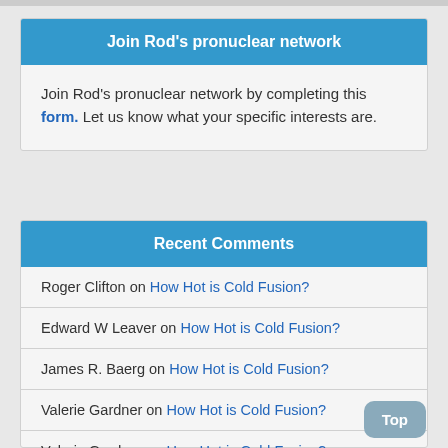Join Rod's pronuclear network
Join Rod's pronuclear network by completing this form. Let us know what your specific interests are.
Recent Comments
Roger Clifton on How Hot is Cold Fusion?
Edward W Leaver on How Hot is Cold Fusion?
James R. Baerg on How Hot is Cold Fusion?
Valerie Gardner on How Hot is Cold Fusion?
Valerie Gardner on How Hot is Cold Fusion?